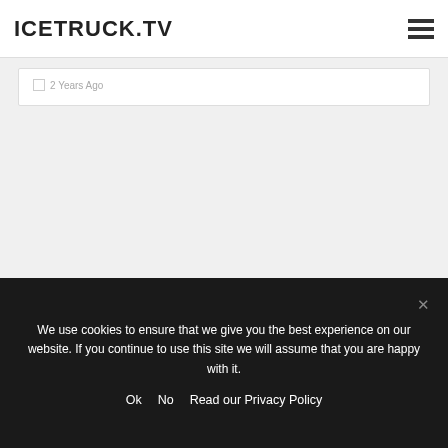ICETRUCK.TV
2 Years Ago
We use cookies to ensure that we give you the best experience on our website. If you continue to use this site we will assume that you are happy with it.
Ok   No   Read our Privacy Policy